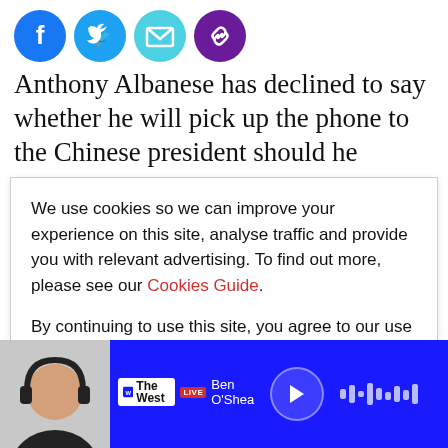[Figure (other): Social media sharing icons: Facebook (blue circle), Twitter (light blue circle), Email (teal circle), Link (purple circle)]
Anthony Albanese has declined to say whether he will pick up the phone to the Chinese president should he
We use cookies so we can improve your experience on this site, analyse traffic and provide you with relevant advertising. To find out more, please see our Cookies Guide.

By continuing to use this site, you agree to our use of cookies.
an address at the Canberra venue before a federal
[Figure (other): Audio player bar with The West Live Ben O'Shea show, blue background, play button and waveform indicator]